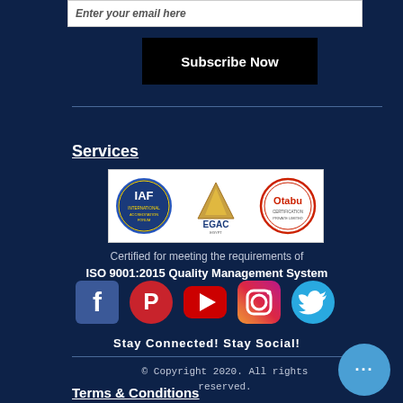Enter your email here
Subscribe Now
Services
[Figure (logo): Three certification logos: IAF (International Accreditation Forum), EGAC (Egyptian Accreditation Council with pyramid logo), and Otabu (Otabu Certification Private Limited)]
Certified for meeting the requirements of ISO 9001:2015 Quality Management System
[Figure (infographic): Five social media icons: Facebook (blue square with f), Pinterest (red circle with P), YouTube (red rounded square with play triangle), Instagram (gradient square with camera), Twitter (blue bird)]
Stay Connected! Stay Social!
© Copyright 2020. All rights reserved.
Terms & Conditions